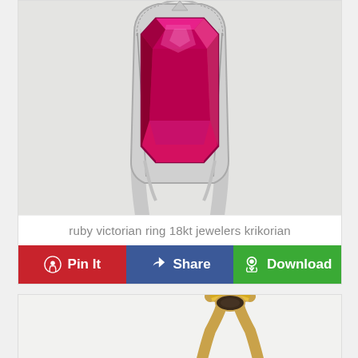[Figure (photo): Close-up photo of a ruby Victorian ring with an 18kt white gold filigree setting. The large rectangular ruby gemstone is prominently displayed in an ornate silver/white gold engraved mount.]
ruby victorian ring 18kt jewelers krikorian
[Figure (infographic): Action bar with three buttons: Pin It (red, Pinterest icon), Share (blue, Facebook icon), Download (green, download icon)]
[Figure (photo): Partial view of a gold Victorian ring with a dark stone, shown from the side/top angle. Only the top portion of the ring is visible.]